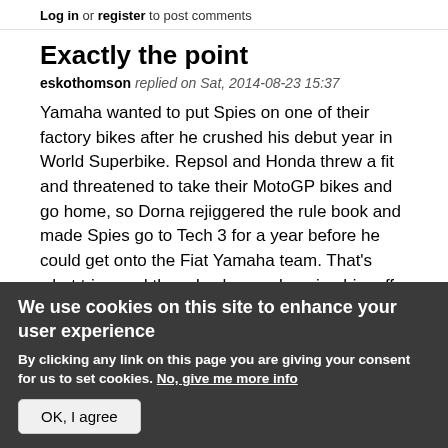Log in or register to post comments
Exactly the point
eskothomson replied on Sat, 2014-08-23 15:37
Yamaha wanted to put Spies on one of their factory bikes after he crushed his debut year in World Superbike. Repsol and Honda threw a fit and threatened to take their MotoGP bikes and go home, so Dorna rejiggered the rule book and made Spies go to Tech 3 for a year before he could get onto the Fiat Yamaha team. That's what triggered the rule change, keeping him off the factory team, thus the moniker, "Spies rule." It wasn't about
We use cookies on this site to enhance your user experience
By clicking any link on this page you are giving your consent for us to set cookies. No, give me more info
OK, I agree